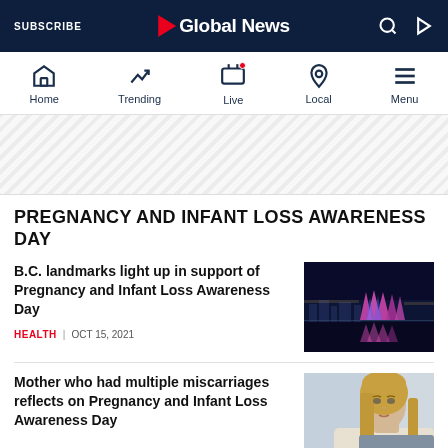SUBSCRIBE | Global News
[Figure (screenshot): Global News website navigation bar with Home, Trending, Live, Local, Menu icons]
[Figure (other): Diagonal striped advertisement banner placeholder]
PREGNANCY AND INFANT LOSS AWARENESS DAY
B.C. landmarks light up in support of Pregnancy and Infant Loss Awareness Day
HEALTH | OCT 15, 2021
[Figure (photo): Vancouver skyline at night with landmarks lit up in pink and blue lights reflecting on water]
Mother who had multiple miscarriages reflects on Pregnancy and Infant Loss Awareness Day
[Figure (photo): Woman with long blonde hair, partial face visible, appearing to be in an interview setting]